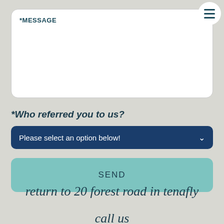[Figure (screenshot): Hamburger menu icon button (three horizontal lines) in a white circle, top right corner]
*MESSAGE
*Who referred you to us?
Please select an option below!
SEND
return to 20 forest road in tenafly
call us